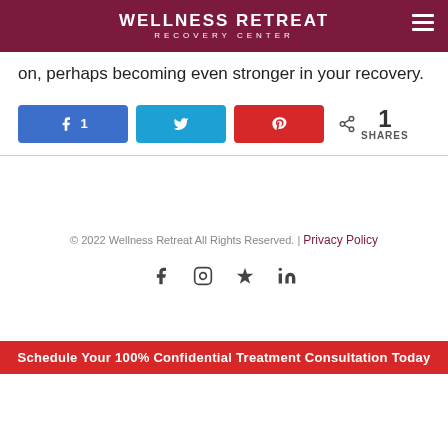WELLNESS RETREAT RECOVERY CENTER
on, perhaps becoming even stronger in your recovery.
[Figure (infographic): Social share buttons: Facebook (1 share), Twitter, Pinterest, and a share count showing 1 SHARES]
© 2022 Wellness Retreat All Rights Reserved. | Privacy Policy
[Figure (infographic): Social media icons: Facebook, Instagram, Yelp, LinkedIn]
Schedule Your 100% Confidential Treatment Consultation Today